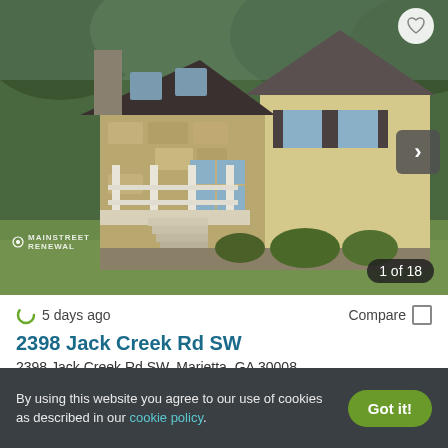[Figure (photo): Exterior photo of a house at 2398 Jack Creek Rd SW, Marietta GA — a two-story home with stone facade, dark shingle roof, covered front porch with white railings and stairs, yellow/beige siding, shuttered windows, surrounded by green lawn and trees. Photo counter shows 1 of 18.]
5 days ago
Compare
2398 Jack Creek Rd SW
2398 Jack Creek Rd SW, Marietta, GA 30008
1 Unit available
Verified
4 BEDS
By using this website you agree to our use of cookies as described in our cookie policy.